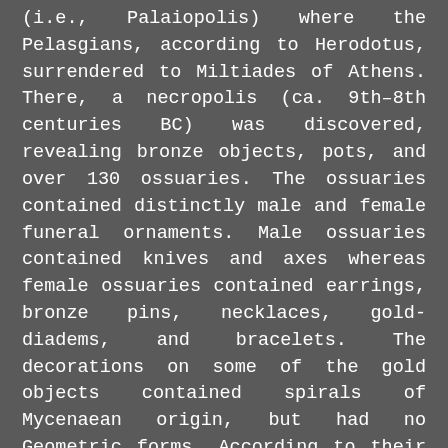(i.e., Palaiopolis) where the Pelasgians, according to Herodotus, surrendered to Miltiades of Athens. There, a necropolis (ca. 9th–8th centuries BC) was discovered, revealing bronze objects, pots, and over 130 ossuaries. The ossuaries contained distinctly male and female funeral ornaments. Male ossuaries contained knives and axes whereas female ossuaries contained earrings, bronze pins, necklaces, gold-diadems, and bracelets. The decorations on some of the gold objects contained spirals of Mycenaean origin, but had no Geometric forms. According to their ornamentation, the pots discovered at the site were from the Geometric period. However, the pots also preserved spirals indicative of Mycenaean art.
The results of the excavations indicate that the Early Iron Age inhabitants of Lemnos could be a remnant of a Mycenaean population and, in addition, the earliest attested reference to Lemnos is the Mycenaean